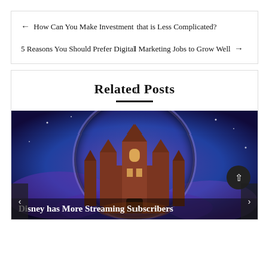← How Can You Make Investment that is Less Complicated?
5 Reasons You Should Prefer Digital Marketing Jobs to Grow Well →
Related Posts
[Figure (photo): A fantasy castle at night with blue and purple hues, viewed through a circular lens or magnifying glass effect]
Disney has More Streaming Subscribers